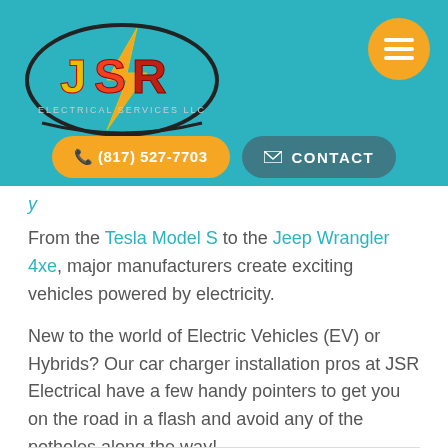[Figure (logo): JSR Electrical Services LLC logo with lightning bolt graphic on teal header background]
(817) 527-7703   CONTACT
From the Tesla Model S to the Jeep Wrangler 4xe, major manufacturers create exciting vehicles powered by electricity.
New to the world of Electric Vehicles (EV) or Hybrids? Our car charger installation pros at JSR Electrical have a few handy pointers to get you on the road in a flash and avoid any of the potholes along the way!